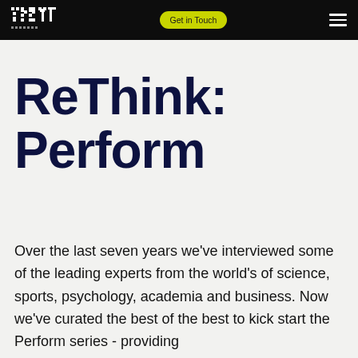YBC TV | Get in Touch | Menu
ReThink: Perform
Over the last seven years we've interviewed some of the leading experts from the world's of science, sports, psychology, academia and business. Now we've curated the best of the best to kick start the Perform series - providing